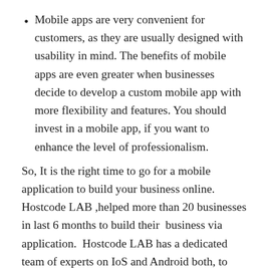Mobile apps are very convenient for customers, as they are usually designed with usability in mind. The benefits of mobile apps are even greater when businesses decide to develop a custom mobile app with more flexibility and features. You should invest in a mobile app, if you want to enhance the level of professionalism.
So, It is the right time to go for a mobile application to build your business online. Hostcode LAB ,helped more than 20 businesses in last 6 months to build their  business via application.  Hostcode LAB has a dedicated team of experts on IoS and Android both, to work on your next application.
If you have an idea of Mobile Application , Let us